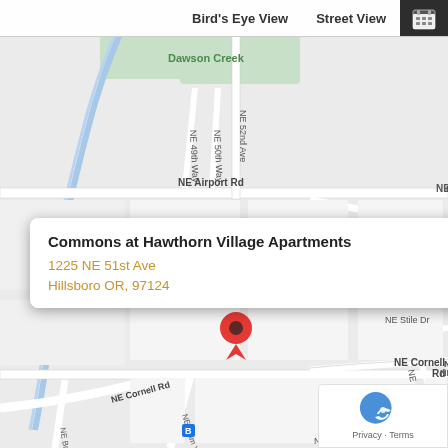[Figure (map): Google Maps screenshot showing street map of Hillsboro, OR area near NE Airport Rd and NE Cornell Rd. Streets visible include NE 49th Way, NE 50th Way, NE 52nd Ave, NE Tandem Way, NE Silo Dr, NE Harvest St, NE Stile Dr, NE Farmcrest St, NE Cornell Rd, NE Elam Young Pkwy, NE Brookwood Pkwy, NE Ray Cir. A red map pin marks the location of Commons at Hawthorn Village Apartments. A popup info box shows the property name and address. Top bar shows Bird's Eye View and Street View buttons.]
Bird's Eye View
Street View
Commons at Hawthorn Village Apartments
1225 NE 51st Ave
Hillsboro OR, 97124